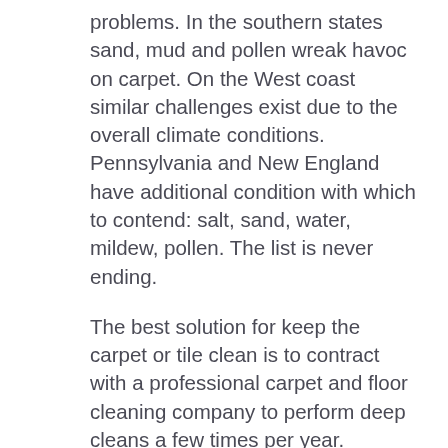problems. In the southern states sand, mud and pollen wreak havoc on carpet. On the West coast similar challenges exist due to the overall climate conditions. Pennsylvania and New England have additional condition with which to contend: salt, sand, water, mildew, pollen. The list is never ending.
The best solution for keep the carpet or tile clean is to contract with a professional carpet and floor cleaning company to perform deep cleans a few times per year. Depending upon the volume of traffic, the carpet and other floor surfaces may require more frequent attention. The alternatives can be surprising and quite expensive.
Normal dirt from day to day operations is expected. When sand and salt are thrown into the mix wear and tear on carpets and hard floor surfaces can cause the flooring to degrade very quickly. Salt and sand will act as scouring agents and will dull and etch tiles and